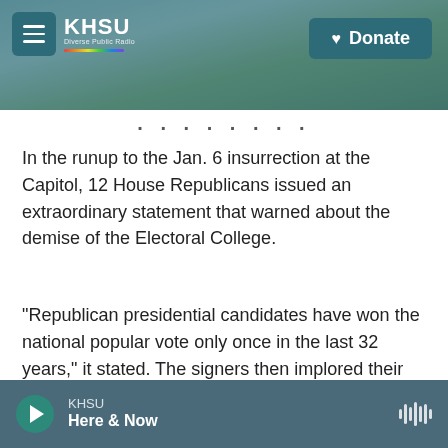[Figure (screenshot): KHSU radio station website header with coastal landscape background photo, hamburger menu button, KHSU logo with rainbow bar, and teal Donate button]
In the runup to the Jan. 6 insurrection at the Capitol, 12 House Republicans issued an extraordinary statement that warned about the demise of the Electoral College.
"Republican presidential candidates have won the national popular vote only once in the last 32 years," it stated. The signers then implored their colleagues not to vote to reject the electors from battleground states, as Trump was asking them to do.
KHSU Here & Now